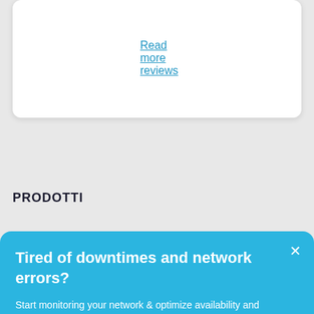Read more reviews
PRODOTTI
Tired of downtimes and network errors?
Start monitoring your network & optimize availability and performance! Try our award-winning monitoring solution PRTG Network Monitor for free
GET YOUR FREE TRIAL